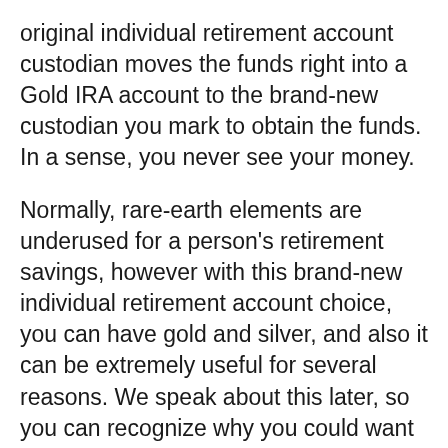original individual retirement account custodian moves the funds right into a Gold IRA account to the brand-new custodian you mark to obtain the funds. In a sense, you never see your money.
Normally, rare-earth elements are underused for a person's retirement savings, however with this brand-new individual retirement account choice, you can have gold and silver, and also it can be extremely useful for several reasons. We speak about this later, so you can recognize why you could want to have gold, silver, as well as various other points.
Guidelines for a Gold Individual Retirement Account Rollover